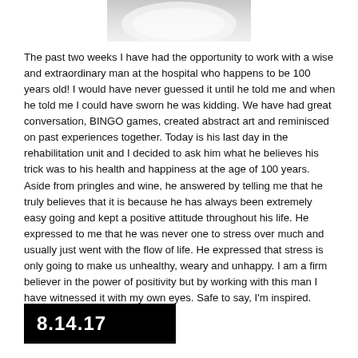[Figure (photo): Partial photo of a white plate or bowl, cropped at the top of the page]
The past two weeks I have had the opportunity to work with a wise and extraordinary man at the hospital who happens to be 100 years old! I would have never guessed it until he told me and when he told me I could have sworn he was kidding. We have had great conversation, BINGO games, created abstract art and reminisced on past experiences together. Today is his last day in the rehabilitation unit and I decided to ask him what he believes his trick was to his health and happiness at the age of 100 years. Aside from pringles and wine, he answered by telling me that he truly believes that it is because he has always been extremely easy going and kept a positive attitude throughout his life. He expressed to me that he was never one to stress over much and usually just went with the flow of life. He expressed that stress is only going to make us unhealthy, weary and unhappy. I am a firm believer in the power of positivity but by working with this man I have witnessed it with my own eyes. Safe to say, I'm inspired.
8.14.17